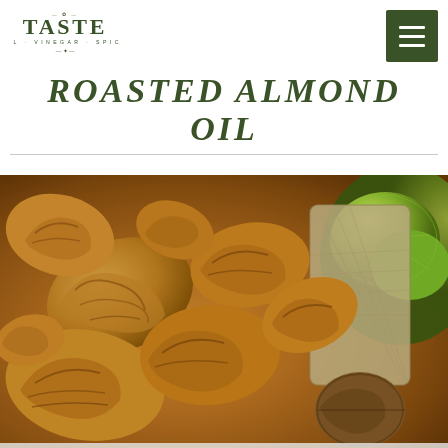[Figure (logo): TASTE oil vinegar spice logo with decorative botanical elements]
ROASTED ALMOND OIL
[Figure (photo): Close-up photo of roasted walnuts/almonds spilling from a burlap sack, with green limes and whole walnuts visible in the background]